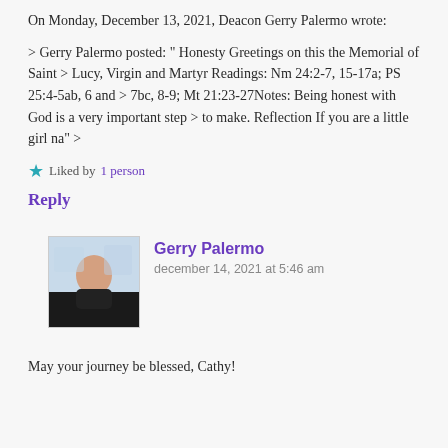On Monday, December 13, 2021, Deacon Gerry Palermo wrote:
> Gerry Palermo posted: " Honesty Greetings on this the Memorial of Saint > Lucy, Virgin and Martyr Readings: Nm 24:2-7, 15-17a; PS 25:4-5ab, 6 and > 7bc, 8-9; Mt 21:23-27Notes: Being honest with God is a very important step > to make. Reflection If you are a little girl na" >
Liked by 1 person
Reply
[Figure (photo): Avatar photo of Gerry Palermo, a man in dark clothing with a building in the background]
Gerry Palermo
december 14, 2021 at 5:46 am
May your journey be blessed, Cathy!